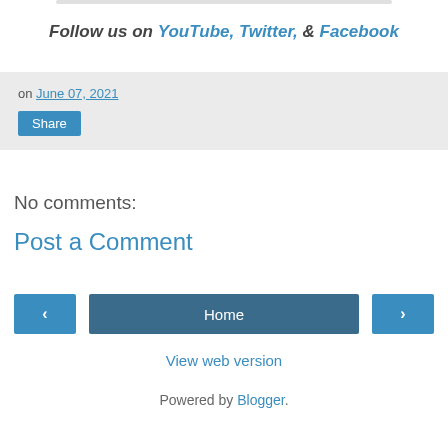Follow us on YouTube, Twitter, & Facebook
on June 07, 2021
Share
No comments:
Post a Comment
‹
Home
›
View web version
Powered by Blogger.